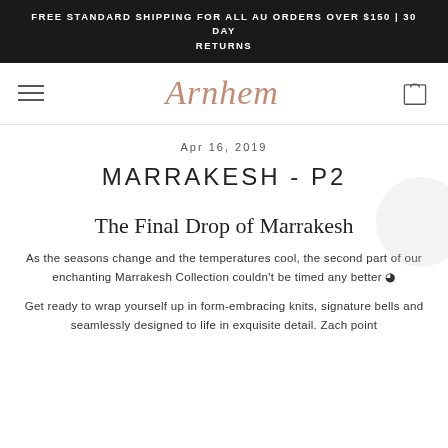FREE STANDARD SHIPPING FOR ALL AU ORDERS OVER $150 | 30 DAY RETURNS
[Figure (logo): Arnhem fashion brand logo in cursive rose-gold script, with hamburger menu icon on left and shopping bag icon on right]
Apr 16, 2019
MARRAKESH - P2
The Final Drop of Marrakesh
As the seasons change and the temperatures cool, the second part of our enchanting Marrakesh Collection couldn't be timed any better 🌙
Get ready to wrap yourself up in form-embracing knits, signature bells and